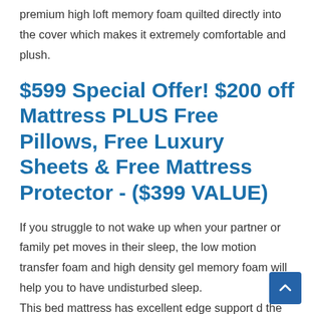premium high loft memory foam quilted directly into the cover which makes it extremely comfortable and plush.
$599 Special Offer! $200 off Mattress PLUS Free Pillows, Free Luxury Sheets & Free Mattress Protector - ($399 VALUE)
If you struggle to not wake up when your partner or family pet moves in their sleep, the low motion transfer foam and high density gel memory foam will help you to have undisturbed sleep. This bed mattress has excellent edge support d the fact that the pocketed coil layer goes from edge